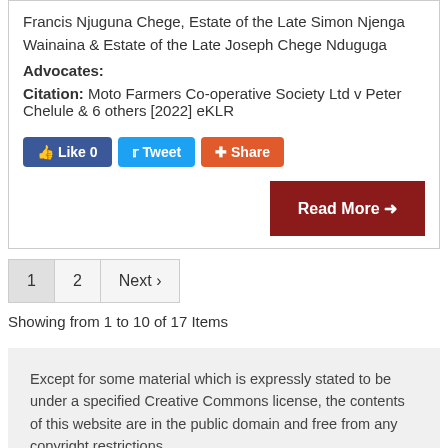Francis Njuguna Chege, Estate of the Late Simon Njenga Wainaina & Estate of the Late Joseph Chege Nduguga
Advocates:
Citation: Moto Farmers Co-operative Society Ltd v Peter Chelule & 6 others [2022] eKLR
[Figure (other): Social sharing buttons: Like 0, Tweet, Share]
[Figure (other): Read More button with arrow]
1  2  Next ›  (pagination)
Showing from 1 to 10 of 17 Items
Except for some material which is expressly stated to be under a specified Creative Commons license, the contents of this website are in the public domain and free from any copyright restrictions